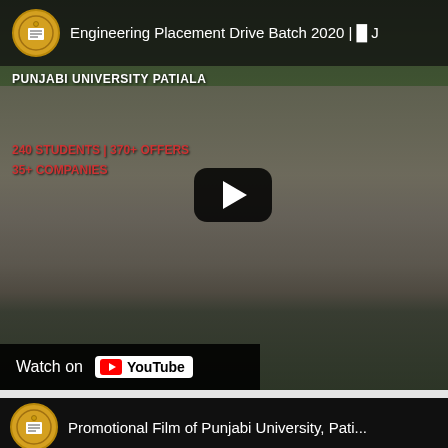[Figure (screenshot): YouTube video thumbnail for 'Engineering Placement Drive Batch 2020' from Punjabi University Patiala. Shows university building with dark overlay, play button, stats: 240 STUDENTS | 370+ OFFERS, 35+ COMPANIES. Watch on YouTube button visible.]
[Figure (screenshot): YouTube video thumbnail for 'Promotional Film of Punjabi University, Pati...' showing channel logo and teal background with partially visible university seal.]